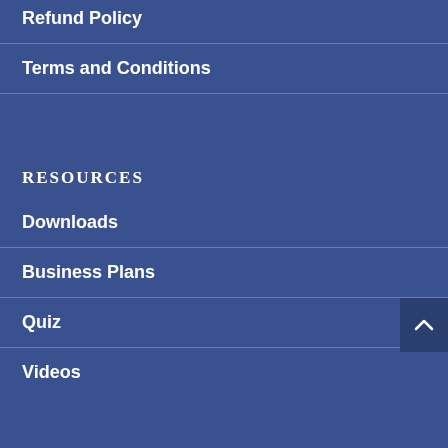Refund Policy
Terms and Conditions
RESOURCES
Downloads
Business Plans
Quiz
Videos